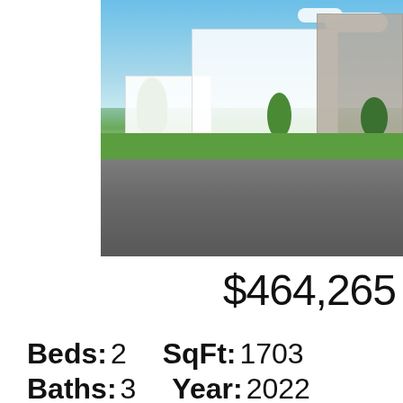[Figure (photo): Architectural rendering of a two-story white modern farmhouse with attached garage, neighboring homes, trees, blue sky with clouds, and grey road in foreground]
$464,265
Beds: 2    SqFt: 1703
Baths: 3    Year: 2022